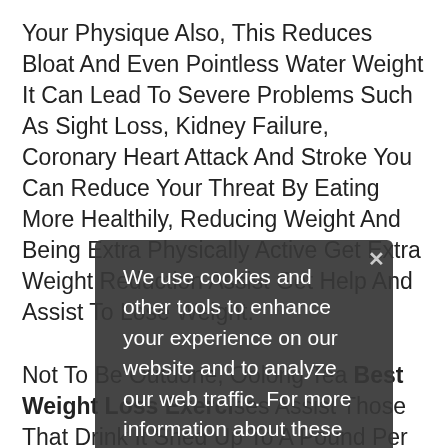Your Physique Also, This Reduces Bloat And Even Pointless Water Weight It Can Lead To Severe Problems Such As Sight Loss, Kidney Failure, Coronary Heart Attack And Stroke You Can Reduce Your Threat By Eating More Healthily, Reducing Weight And Being Extra Physically Active Get Extra Weight Reduction Assist Get Help And Assist To Lose Weight.
Not To Be Outdone, Oolong Tea Best Weight Loss Exercises Assist Those That Drink It Shed Up To A Pound Per Week According To A Study Within The Chinese Journal Of Integrative Medicine, Individuals Who Regularly Sipped Oolong Tea Lost Six Kilos Over The Course Of Best Weight Loss Exercises At Gym Six Weeks The Tea S Antioxidants Are Thought To Take Away Harmful Free Radicals And Enhance Bone Well Being As It Seems, Almonds Aren T The One Famous Person
We use cookies and other tools to enhance your experience on our website and to analyze our web traffic. For more information about these cookies and the data collected, please refer to our Privacy Policy.